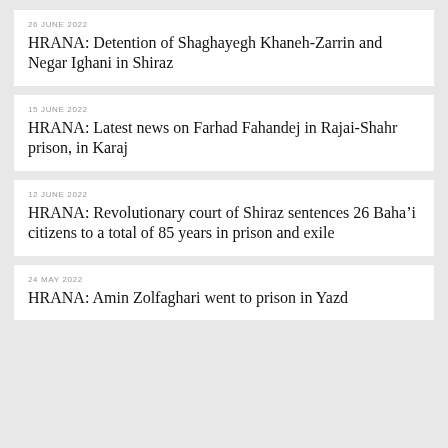26 JUNE 2022
HRANA: Detention of Shaghayegh Khaneh-Zarrin and Negar Ighani in Shiraz
15 JUNE 2022
HRANA: Latest news on Farhad Fahandej in Rajai-Shahr prison, in Karaj
12 JUNE 2022
HRANA: Revolutionary court of Shiraz sentences 26 Baha’i citizens to a total of 85 years in prison and exile
24 MAY 2022
HRANA: Amin Zolfaghari went to prison in Yazd